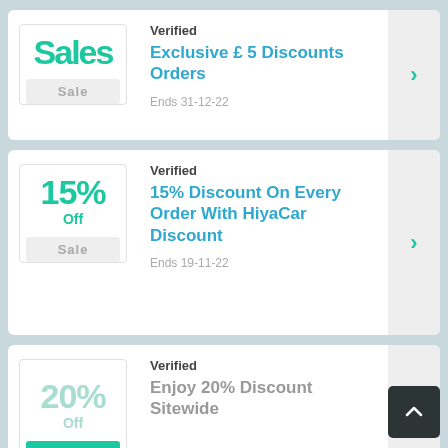Verified
Exclusive £ 5 Discounts Orders
Ends 31-12-22
Verified
15% Discount On Every Order With HiyaCar Discount
Ends 19-11-22
Verified
Enjoy 20% Discount Sitewide